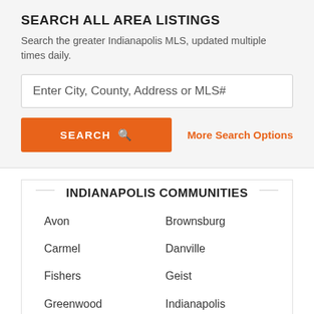SEARCH ALL AREA LISTINGS
Search the greater Indianapolis MLS, updated multiple times daily.
Enter City, County, Address or MLS#
SEARCH
More Search Options
INDIANAPOLIS COMMUNITIES
Avon
Brownsburg
Carmel
Danville
Fishers
Geist
Greenwood
Indianapolis
Noblesville
Plainfield
Westfield
Zionsville